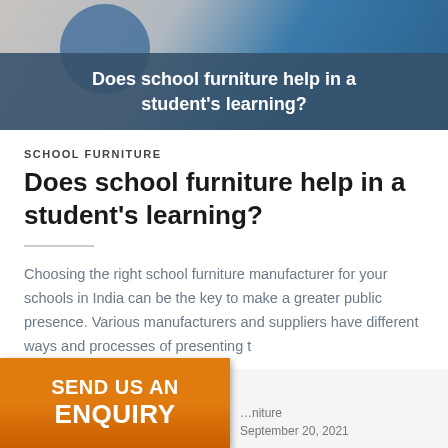[Figure (photo): Hero image of school furniture (chairs/desks in blue and grey tones) with a dark blue overlay banner containing the article title]
Does school furniture help in a student's learning?
SCHOOL FURNITURE
Does school furniture help in a student's learning?
Choosing the right school furniture manufacturer for your schools in India can be the key to make a greater public presence. Various manufacturers and suppliers have different ways and processes of presenting t
[Figure (other): Orange call-to-action button reading SEND US AN ENQUIRY]
...niture
September 20, 2021